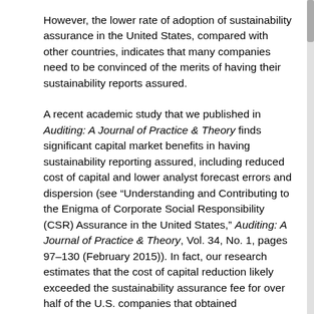However, the lower rate of adoption of sustainability assurance in the United States, compared with other countries, indicates that many companies need to be convinced of the merits of having their sustainability reports assured.
A recent academic study that we published in Auditing: A Journal of Practice & Theory finds significant capital market benefits in having sustainability reporting assured, including reduced cost of capital and lower analyst forecast errors and dispersion (see “Understanding and Contributing to the Enigma of Corporate Social Responsibility (CSR) Assurance in the United States,” Auditing: A Journal of Practice & Theory, Vol. 34, No. 1, pages 97–130 (February 2015)). In fact, our research estimates that the cost of capital reduction likely exceeded the sustainability assurance fee for over half of the U.S. companies that obtained sustainability assurance. These benefits of sustainability assurance are more pronounced when a public accounting firm provides the assurance. In this article, we update these previous findings with an additional